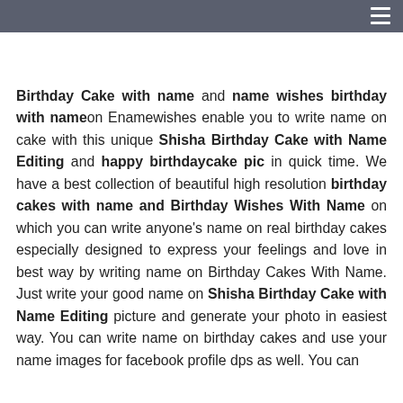Birthday Cake with name and name wishes birthday with name on Enamewishes enable you to write name on cake with this unique Shisha Birthday Cake with Name Editing and happy birthdaycake pic in quick time. We have a best collection of beautiful high resolution birthday cakes with name and Birthday Wishes With Name on which you can write anyone's name on real birthday cakes especially designed to express your feelings and love in best way by writing name on Birthday Cakes With Name. Just write your good name on Shisha Birthday Cake with Name Editing picture and generate your photo in easiest way. You can write name on birthday cakes and use your name images for facebook profile dps as well. You can